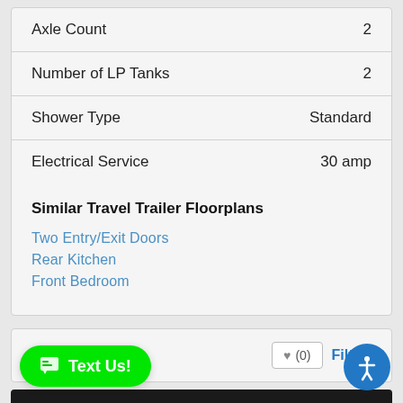| Specification | Value |
| --- | --- |
| Axle Count | 2 |
| Number of LP Tanks | 2 |
| Shower Type | Standard |
| Electrical Service | 30 amp |
Similar Travel Trailer Floorplans
Two Entry/Exit Doors
Rear Kitchen
Front Bedroom
Showing 1 – 2 of 2
♥ (0)
Filter »
TRAVEL TRAILER
Text Us!